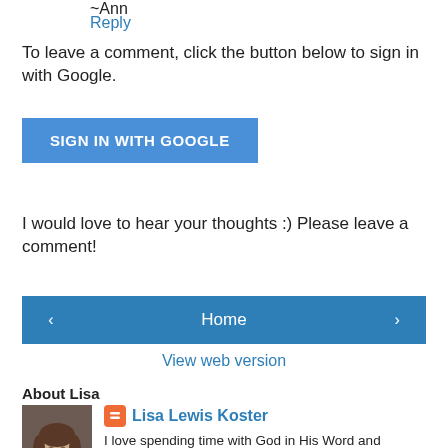~Ann
Reply
To leave a comment, click the button below to sign in with Google.
[Figure (other): SIGN IN WITH GOOGLE button - blue rectangle with white text]
I would love to hear your thoughts :) Please leave a comment!
[Figure (other): Navigation bar with left arrow button, Home button, and right arrow button]
View web version
About Lisa
[Figure (photo): Photo of Lisa Lewis Koster, a woman with short brown hair wearing a purple top]
Lisa Lewis Koster
I love spending time with God in His Word and sharing what I'm learning with others!
View my complete profile